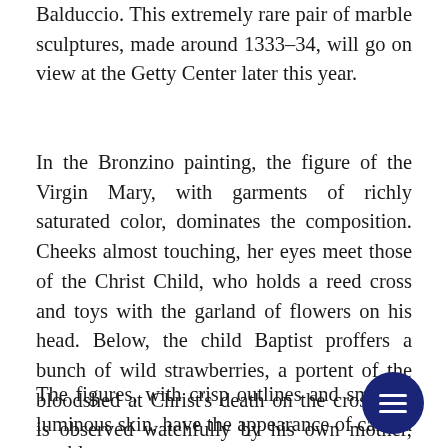Balduccio. This extremely rare pair of marble sculptures, made around 1333–34, will go on view at the Getty Center later this year.
In the Bronzino painting, the figure of the Virgin Mary, with garments of richly saturated color, dominates the composition. Cheeks almost touching, her eyes meet those of the Christ Child, who holds a reed cross and toys with the garland of flowers on his head. Below, the child Baptist proffers a bunch of wild strawberries, a portent of the bloodshed at Christ's death on the cross. He is observed watchfully by his own mother, the elderly St. Elizabeth.
The figures, with crisp outlines and smooth, luminous skin, have the appearance of carved marble.